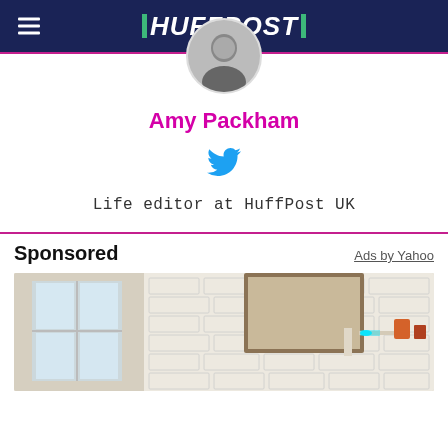HUFFPOST
[Figure (photo): Circular profile photo of Amy Packham, black and white portrait]
Amy Packham
[Figure (logo): Twitter bird icon in cyan/blue]
Life editor at HuffPost UK
Sponsored
Ads by Yahoo
[Figure (photo): Interior room photo showing white brick wall with framed artwork and a glowing cyan device on a shelf, with a window and sofa visible]